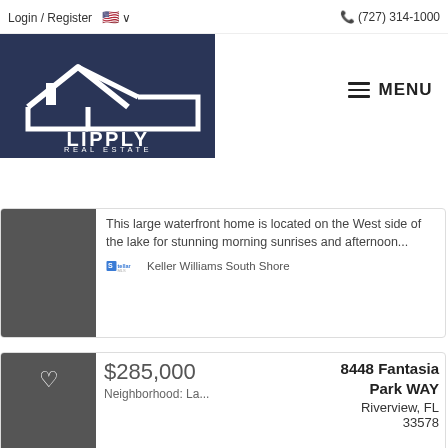Login / Register  🇺🇸 ∨    ☎ (727) 314-1000
[Figure (logo): Lipply Real Estate logo — white house/roof silhouette with text LIPPLY REAL ESTATE on dark navy background]
≡ MENU
This large waterfront home is located on the West side of the lake for stunning morning sunrises and afternoon...
Keller Williams South Shore
$285,000
Neighborhood: La...
8448 Fantasia Park WAY
Riverview, FL
33578
3
Beds
2
Baths
1,643
Sq.Ft.
2005   2   T2396200